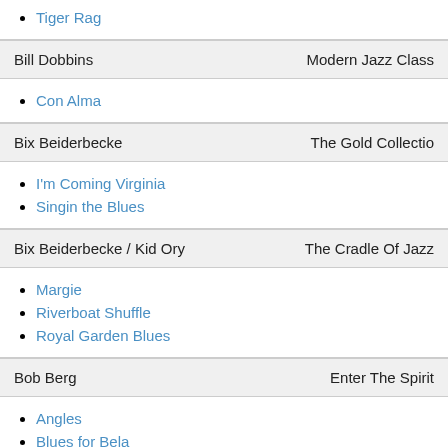Tiger Rag
Bill Dobbins | Modern Jazz Class
Con Alma
Bix Beiderbecke | The Gold Collection
I'm Coming Virginia
Singin the Blues
Bix Beiderbecke / Kid Ory | The Cradle Of Jazz
Margie
Riverboat Shuffle
Royal Garden Blues
Bob Berg | Enter The Spirit
Angles
Blues for Bela
Second Sight